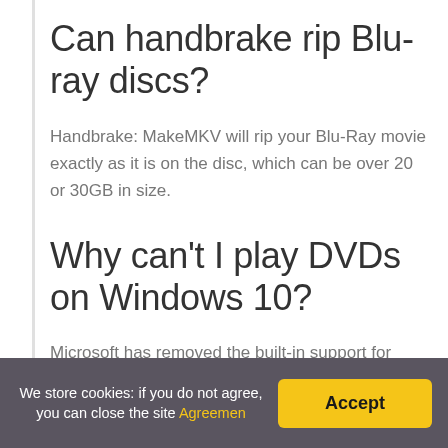Can handbrake rip Blu-ray discs?
Handbrake: MakeMKV will rip your Blu-Ray movie exactly as it is on the disc, which can be over 20 or 30GB in size.
Why can't I play DVDs on Windows 10?
Microsoft has removed the built-in support for video DVD playing in Windows 10. Therefore DVD playback is more troublesome on Windows 10 than on previous versions. So we recommend you to use VLC player, a
We store cookies: if you do not agree, you can close the site Agreemen  Accept